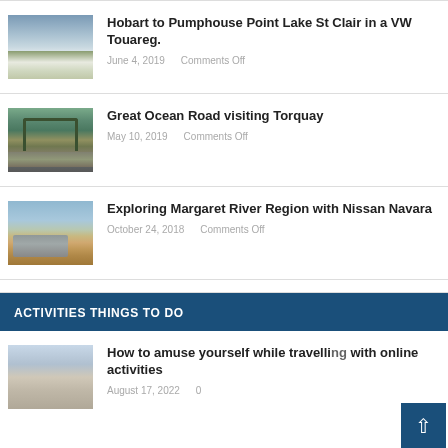Hobart to Pumphouse Point Lake St Clair in a VW Touareg. | June 4, 2019 | Comments Off
Great Ocean Road visiting Torquay | May 10, 2019 | Comments Off
Exploring Margaret River Region with Nissan Navara | October 24, 2018 | Comments Off
ACTIVITIES THINGS TO DO
How to amuse yourself while travelling with online activities | August 17, 2022